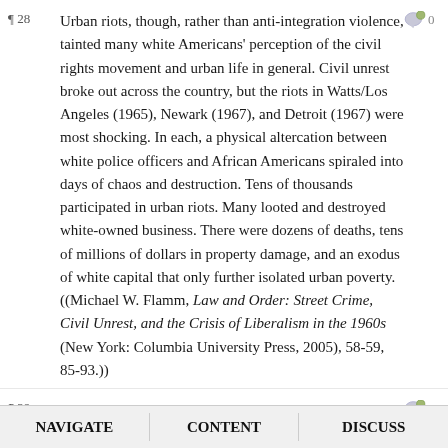¶28 Urban riots, though, rather than anti-integration violence, tainted many white Americans' perception of the civil rights movement and urban life in general. Civil unrest broke out across the country, but the riots in Watts/Los Angeles (1965), Newark (1967), and Detroit (1967) were most shocking. In each, a physical altercation between white police officers and African Americans spiraled into days of chaos and destruction. Tens of thousands participated in urban riots. Many looted and destroyed white-owned business. There were dozens of deaths, tens of millions of dollars in property damage, and an exodus of white capital that only further isolated urban poverty. ((Michael W. Flamm, Law and Order: Street Crime, Civil Unrest, and the Crisis of Liberalism in the 1960s (New York: Columbia University Press, 2005), 58-59, 85-93.))
¶29 In 1967, President Johnson appointed the Kerner Commission to investigate the causes of America's riots. Their report became an unexpected bestseller. ((Thomas J. Sugrue, Sweet Land of Liberty: The Forgotten Struggle for Civil Rights in the North (New York: Random House, 2008), 348. )) The Commission cited black frustration with the hopelessness of poverty as the underlying
NAVIGATE   CONTENT   DISCUSS